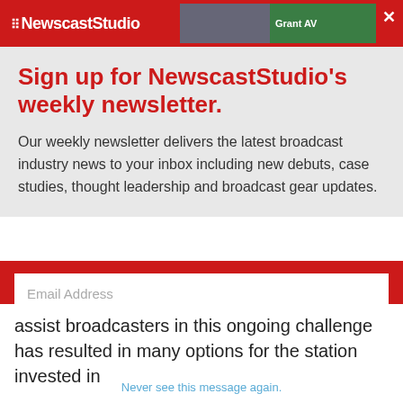NewscastStudio
Sign up for NewscastStudio's weekly newsletter.
Our weekly newsletter delivers the latest broadcast industry news to your inbox including new debuts, case studies, thought leadership and broadcast gear updates.
Email Address
First Name
Last Name
assist broadcasters in this ongoing challenge has resulted in many options for the station invested in
Never see this message again.